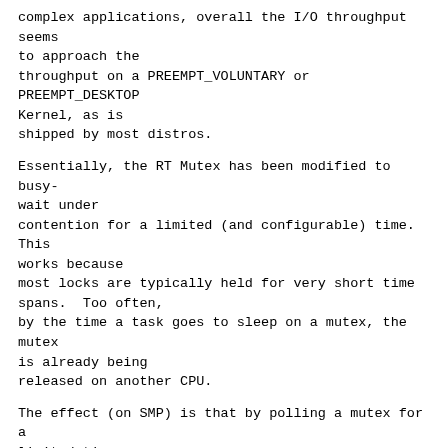complex applications, overall the I/O throughput seems to approach the
throughput on a PREEMPT_VOLUNTARY or PREEMPT_DESKTOP Kernel, as is
shipped by most distros.
Essentially, the RT Mutex has been modified to busy-wait under
contention for a limited (and configurable) time.  This works because
most locks are typically held for very short time spans.  Too often,
by the time a task goes to sleep on a mutex, the mutex is already being
released on another CPU.
The effect (on SMP) is that by polling a mutex for a limited time we
reduce context switch overhead by up to 90%, and therefore eliminate CPU
cycles as well as massive hot-spots in the scheduler / other bottlenecks
in the Kernel - even though we busy-wait (using CPU cycles) to poll the
lock.
We have put together some data from different types of benchmarks for
this patch series, which you can find here: